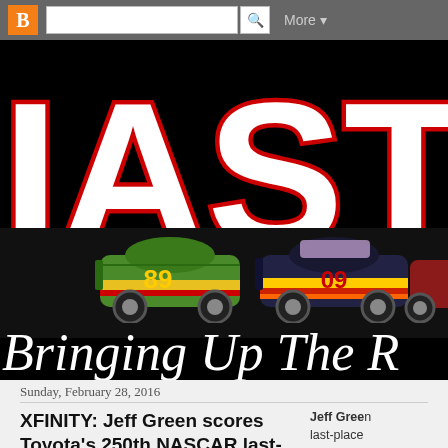[Figure (logo): Blogger toolbar with orange B icon, search bar, and More button]
[Figure (logo): Blog header banner with large white letters 'IAST' outlined in red on black background, cartoon NASCAR race cars numbered 89 and 09, and italic tagline text 'Bringing Up The R...' in white script on black]
Sunday, February 28, 2016
XFINITY: Jeff Green scores Toyota's 250th NASCAR last-place finish
Jeff Green last-place